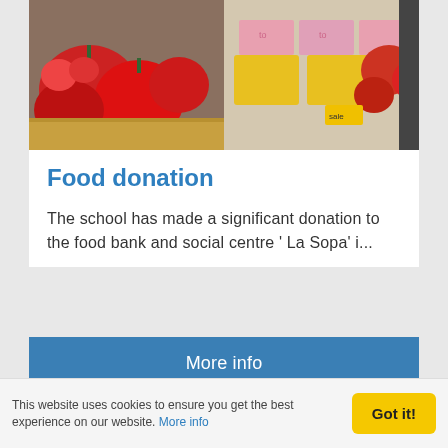[Figure (photo): Food items including red peppers, packaged goods, and tomatoes in boxes at a food bank donation]
Food donation
The school has made a significant donation to the food bank and social centre ' La Sopa' i...
More info
[Figure (photo): Book or document cover showing 'MARI PEPA COLOMER' with text 'uvindors' and 'a cinclus']
This website uses cookies to ensure you get the best experience on our website. More info
Got it!